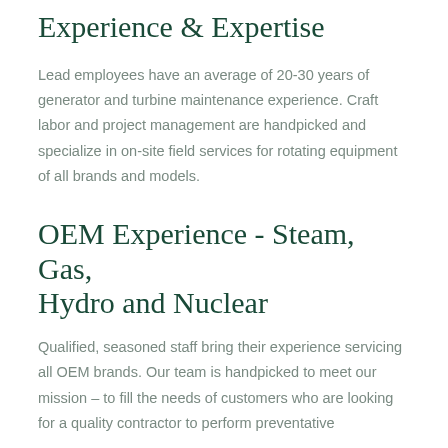Experience & Expertise
Lead employees have an average of 20-30 years of generator and turbine maintenance experience. Craft labor and project management are handpicked and specialize in on-site field services for rotating equipment of all brands and models.
OEM Experience - Steam, Gas, Hydro and Nuclear
Qualified, seasoned staff bring their experience servicing all OEM brands. Our team is handpicked to meet our mission – to fill the needs of customers who are looking for a quality contractor to perform preventative